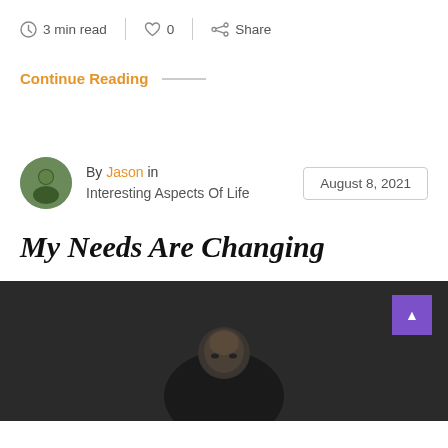3 min read  |  0  |  Share
Continue Reading —
By Jason in Interesting Aspects Of Life    August 8, 2021
My Needs Are Changing
[Figure (photo): Portrait photo of a Black man against a dark background, cropped at the bottom of the page]